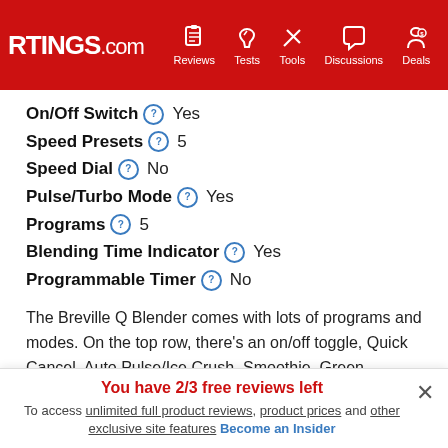RTINGS.com | Reviews | Tests | Tools | Discussions | Deals
On/Off Switch ? Yes
Speed Presets ? 5
Speed Dial ? No
Pulse/Turbo Mode ? Yes
Programs ? 5
Blending Time Indicator ? Yes
Programmable Timer ? No
The Breville Q Blender comes with lots of programs and modes. On the top row, there's an on/off toggle, Quick Cancel, Auto Pulse/Ice Crush, Smoothie, Green Smoothie, and Soup (Cold to Hot) buttons. On the bottom...
You have 2/3 free reviews left
To access unlimited full product reviews, product prices and other exclusive site features Become an Insider